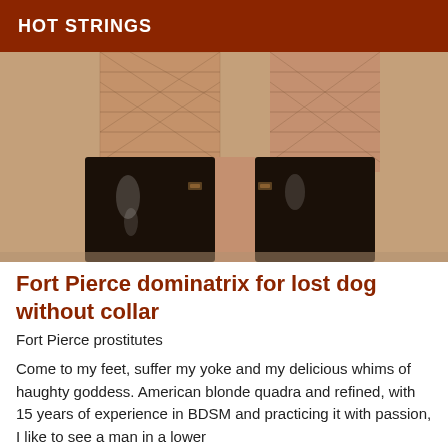HOT STRINGS
[Figure (photo): Close-up of a person's legs wearing fishnet stockings and tall black shiny platform boots, photographed from the knees down against a beige background.]
Fort Pierce dominatrix for lost dog without collar
Fort Pierce prostitutes
Come to my feet, suffer my yoke and my delicious whims of haughty goddess. American blonde quadra and refined, with 15 years of experience in BDSM and practicing it with passion, I like to see a man in a lower